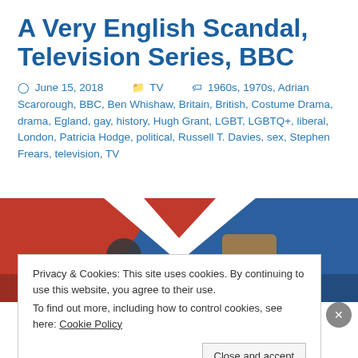A Very English Scandal, Television Series, BBC
June 15, 2018  TV  1960s, 1970s, Adrian Scarorough, BBC, Ben Whishaw, Britain, British, Costume Drama, drama, Egland, gay, history, Hugh Grant, LGBT, LGBTQ+, liberal, London, Patricia Hodge, political, Russell T. Davies, sex, Stephen Frears, television, TV
[Figure (photo): Promotional image for A Very English Scandal showing two actors against a Union Jack background]
Privacy & Cookies: This site uses cookies. By continuing to use this website, you agree to their use.
To find out more, including how to control cookies, see here: Cookie Policy
Close and accept
Advertisements